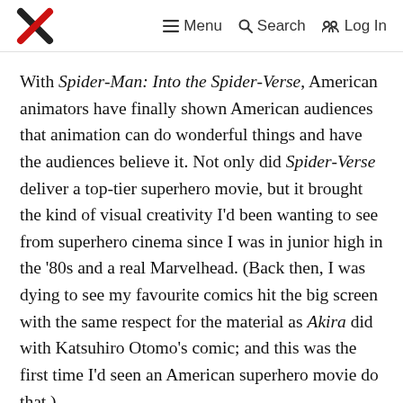X  Menu  Search  Log In
With Spider-Man: Into the Spider-Verse, American animators have finally shown American audiences that animation can do wonderful things and have the audiences believe it. Not only did Spider-Verse deliver a top-tier superhero movie, but it brought the kind of visual creativity I'd been wanting to see from superhero cinema since I was in junior high in the '80s and a real Marvelhead. (Back then, I was dying to see my favourite comics hit the big screen with the same respect for the material as Akira did with Katsuhiro Otomo's comic; and this was the first time I'd seen an American superhero movie do that.)
Spider-Verse is a deliriously and gorgeously crafted film. The care with which shots are drawn and composed,